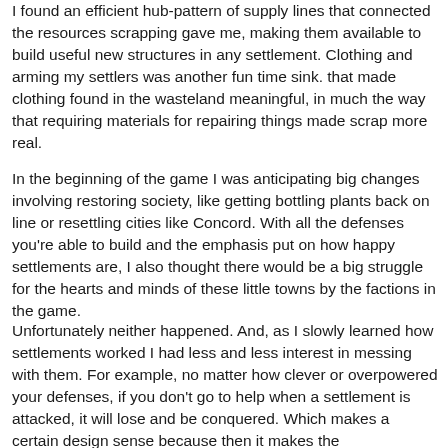I found an efficient hub-pattern of supply lines that connected the resources scrapping gave me, making them available to build useful new structures in any settlement.  Clothing and arming my settlers was another fun time sink. that made clothing found in the wasteland meaningful, in much the way that requiring materials for repairing things made scrap more real.
In the beginning of the game I was anticipating big changes involving restoring society, like getting bottling plants back on line or resettling cities like Concord.  With all the defenses you're able to build and the emphasis put on how happy settlements are, I also thought there would be a big struggle for the hearts and minds of these little towns by the factions in the game.
Unfortunately neither happened.  And, as I slowly learned how settlements worked I had less and less interest in messing with them.  For example, no matter how clever or overpowered your defenses, if you don't go to help when a settlement is attacked, it will lose and be conquered.  Which makes a certain design sense because then it makes the